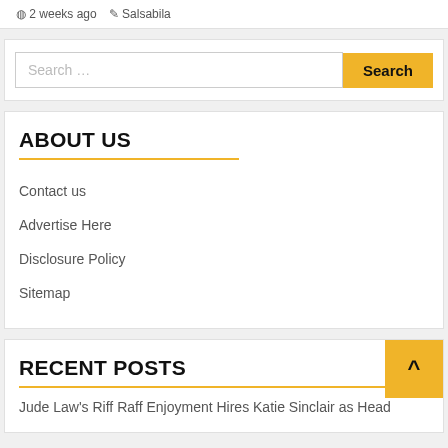2 weeks ago  Salsabila
Search …
ABOUT US
Contact us
Advertise Here
Disclosure Policy
Sitemap
RECENT POSTS
Jude Law's Riff Raff Enjoyment Hires Katie Sinclair as Head